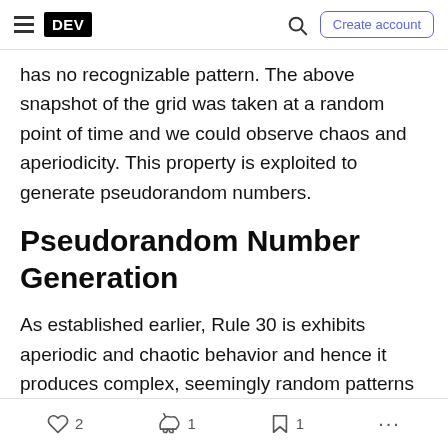DEV | Create account
has no recognizable pattern. The above snapshot of the grid was taken at a random point of time and we could observe chaos and aperiodicity. This property is exploited to generate pseudorandom numbers.
Pseudorandom Number Generation
As established earlier, Rule 30 is exhibits aperiodic and chaotic behavior and hence it produces complex, seemingly random patterns from simple, well-defined rules. To generate random numbers from using Rule 30 we use the center column and
2  1  1  ...